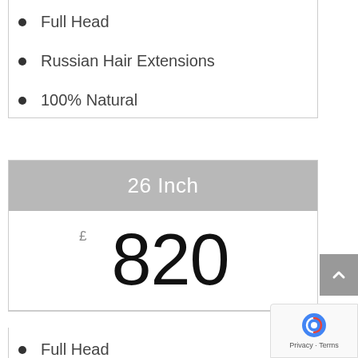Full Head
Russian Hair Extensions
100% Natural
26 Inch
£820
Full Head